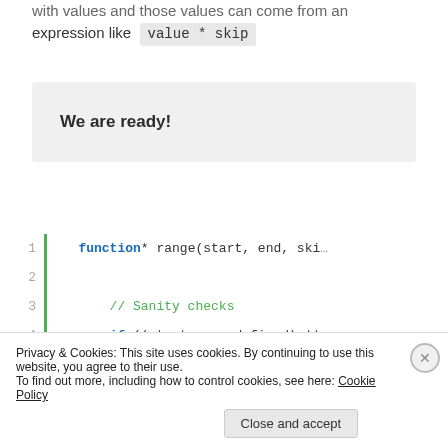with values and those values can come from an expression like value * skip
We are ready!
[Figure (screenshot): Code block showing a JavaScript generator function: function* range(start, end, skip) with sanity checks using if statement. Lines 1-8 visible with green vertical bar indicator.]
Privacy & Cookies: This site uses cookies. By continuing to use this website, you agree to their use. To find out more, including how to control cookies, see here: Cookie Policy
Close and accept